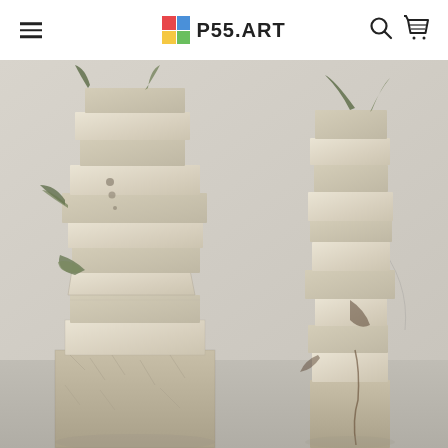P55.ART
[Figure (photo): Two tall stacked stone/wood block sculptures in a white gallery space. The sculptures are composed of rough pale limestone or chalk blocks piled vertically, with some plant material (dark stems/leaves) visible between them.]